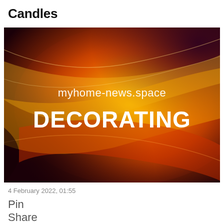Candles
[Figure (illustration): Dark red and orange gradient abstract swirling background with text 'myhome-news.space' and 'DECORATING' in white on top]
4 February 2022, 01:55
Pin
Share